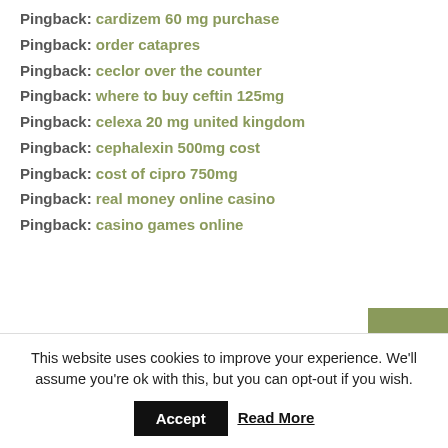Pingback: cardizem 60 mg purchase
Pingback: order catapres
Pingback: ceclor over the counter
Pingback: where to buy ceftin 125mg
Pingback: celexa 20 mg united kingdom
Pingback: cephalexin 500mg cost
Pingback: cost of cipro 750mg
Pingback: real money online casino
Pingback: casino games online
This website uses cookies to improve your experience. We'll assume you're ok with this, but you can opt-out if you wish.